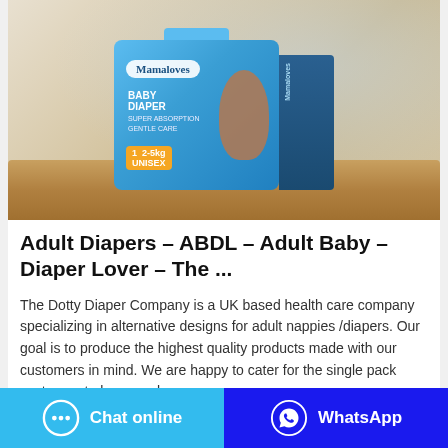[Figure (photo): Product photo of Mamaloves Baby Diaper box (size 1, 2-5kg, Unisex) sitting on a wooden tray with blurred background]
Adult Diapers – ABDL – Adult Baby – Diaper Lover – The ...
The Dotty Diaper Company is a UK based health care company specializing in alternative designs for adult nappies /diapers. Our goal is to produce the highest quality products made with our customers in mind. We are happy to cater for the single pack customer, to large scale
Chat online
WhatsApp